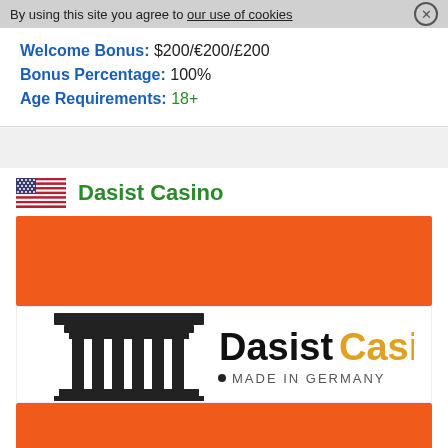By using this site you agree to our use of cookies
Welcome Bonus: $200/€200/£200
Bonus Percentage: 100%
Age Requirements: 18+
Dasist Casino
[Figure (logo): DasistCasino logo with Brandenburg Gate icon and 'MADE IN GERMANY' tagline, flanked by orange banner blocks]